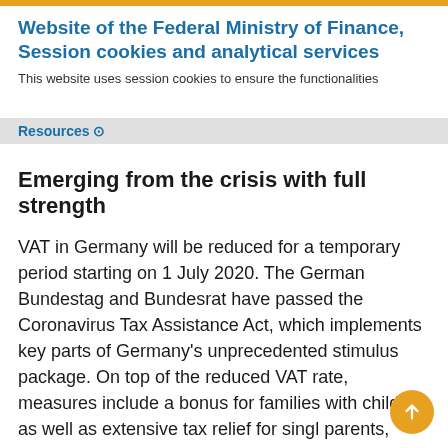Website of the Federal Ministry of Finance, Session cookies and analytical services
This website uses session cookies to ensure the functionalities
Resources
Emerging from the crisis with full strength
VAT in Germany will be reduced for a temporary period starting on 1 July 2020. The German Bundestag and Bundesrat have passed the Coronavirus Tax Assistance Act, which implements key parts of Germany's unprecedented stimulus package. On top of the reduced VAT rate, measures include a bonus for families with children as well as extensive tax relief for single parents, businesses and other …